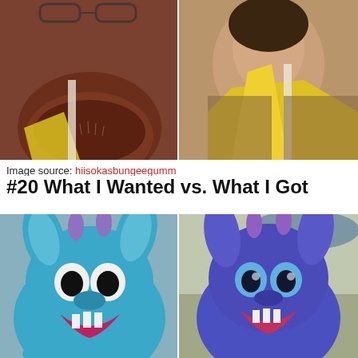[Figure (photo): Two-panel image: left shows a closeup of a person's chin/jaw area with glasses and reddish-brown face paint or costume, right shows a woman with a yellow costume/collar piece]
Image source: hiisokasbungeegumm
#20 What I Wanted vs. What I Got
[Figure (photo): Two-panel image: left shows a blue Stitch (Lilo & Stitch character) costume/plush, right shows a darker purple/blue homemade or lower-quality Stitch costume]